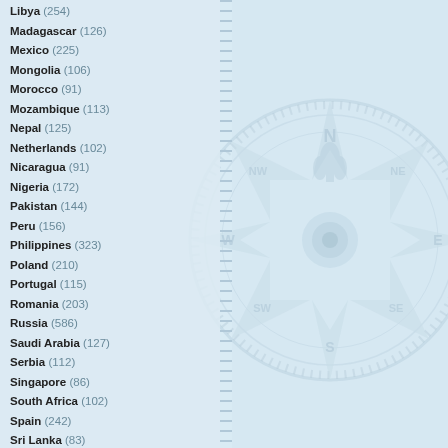Libya (254)
Madagascar (126)
Mexico (225)
Mongolia (106)
Morocco (91)
Mozambique (113)
Nepal (125)
Netherlands (102)
Nicaragua (91)
Nigeria (172)
Pakistan (144)
Peru (156)
Philippines (323)
Poland (210)
Portugal (115)
Romania (203)
Russia (586)
Saudi Arabia (127)
Serbia (112)
Singapore (86)
South Africa (102)
Spain (242)
Sri Lanka (83)
Sudan (115)
[Figure (illustration): Compass rose watermark illustration on light blue background, right half of page]